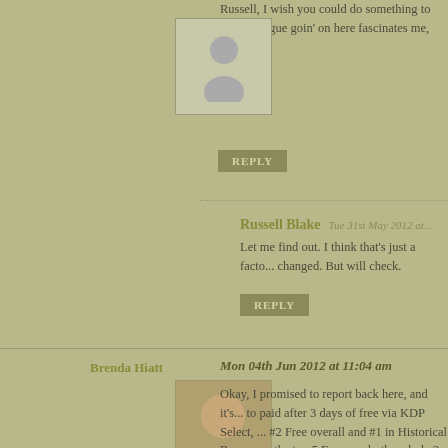Russell, I wish you could do something to da... dialogue goin' on here fascinates me, but yo...
REPLY
Russell Blake
Tue 31st May 2012 at...
Let me find out. I think that's just a facto... changed. But will check.
REPLY
Brenda Hiatt
Mon 04th Jun 2012 at 11:04 am
Okay, I promised to report back here, and it'... to paid after 3 days of free via KDP Select, ... #2 Free overall and #1 in Historical Romanc... the top 5 Free nearly the whole 3 days. I had... comparison, the book I put free for 5 days i... days and topped out at #13 Free and #3 Hist... book did MUCH better in terms of downloa... because I've gotten better at promoting. Or m...
In the week since going off free, I've sold ab... total, $10 copies, in about 35 d...